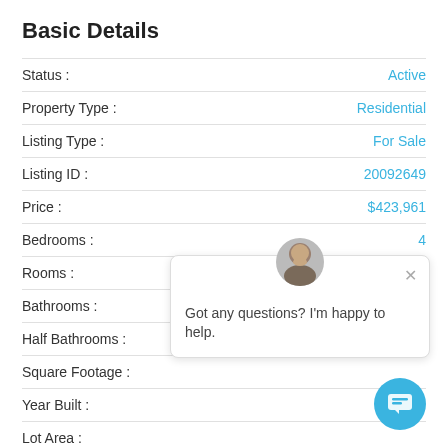Basic Details
| Field | Value |
| --- | --- |
| Status : | Active |
| Property Type : | Residential |
| Listing Type : | For Sale |
| Listing ID : | 20092649 |
| Price : | $423,961 |
| Bedrooms : | 4 |
| Rooms : | 0 |
| Bathrooms : | 2 |
| Half Bathrooms : |  |
| Square Footage : |  |
| Year Built : |  |
| Lot Area : |  |
[Figure (screenshot): Chat popup with avatar showing 'Got any questions? I'm happy to help.' and a close button]
Property Description
MLS# 20092649 – Built by HistoryMaker Homes – November